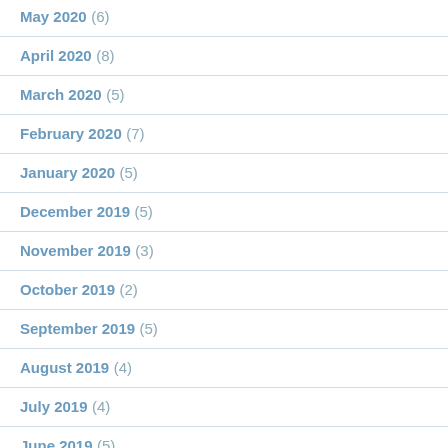May 2020 (6)
April 2020 (8)
March 2020 (5)
February 2020 (7)
January 2020 (5)
December 2019 (5)
November 2019 (3)
October 2019 (2)
September 2019 (5)
August 2019 (4)
July 2019 (4)
June 2019 (5)